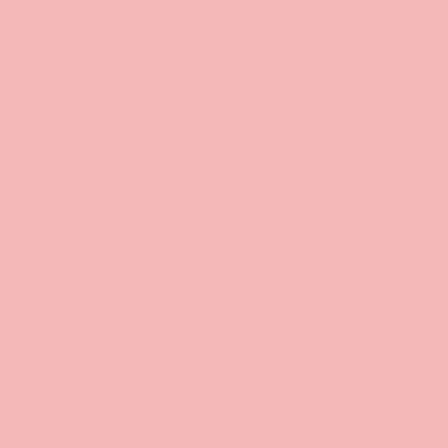[Figure (other): Pink/salmon colored rectangular panel on the left side of the page]
speech to her troops where s conquer/liberate all of Weste Essos -- a speech that the ac she studied Hitler for, but wh sounded more to me like Na well as a couple of much mo fundamental problems. Wha turned me off in Game of Th its unquestioned bedrock bel hereditary aristocracy, and it correlative commitment to w Without having read the boo that Martin is completely op both, but rather than constru cardboard characters for us t (in the vain hope that good v ultimately triumph over evil exposes the foundations by s how every character is corru disgraced by inequality and That Yglesias winds up root strong and fearsome ruler sh much he's willing to compro
Gary Younge: Shocked by the right? The...